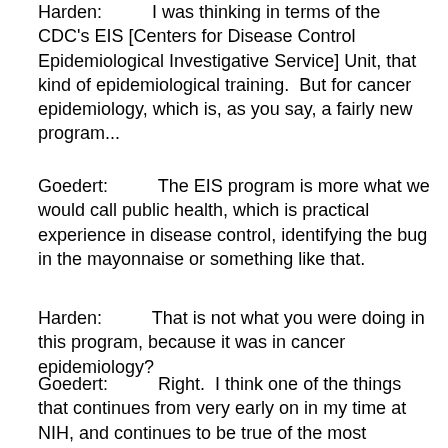Harden:          I was thinking in terms of the CDC's EIS [Centers for Disease Control Epidemiological Investigative Service] Unit, that kind of epidemiological training.  But for cancer epidemiology, which is, as you say, a fairly new program...
Goedert:          The EIS program is more what we would call public health, which is practical experience in disease control, identifying the bug in the mayonnaise or something like that.
Harden:          That is not what you were doing in this program, because it was in cancer epidemiology?
Goedert:          Right.  I think one of the things that continues from very early on in my time at NIH, and continues to be true of the most successful work that we do, is trying to approach the problem of cancer, AIDS, or